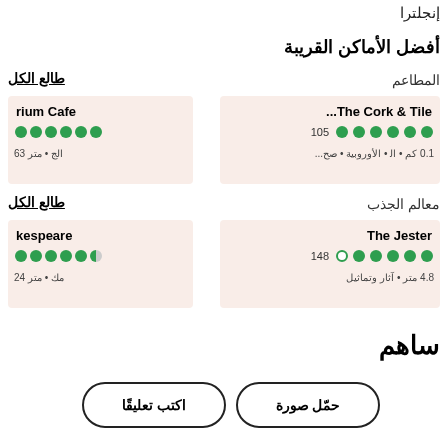إنجلترا
أفضل الأماكن القريبة
المطاعم
طالع الكل
The Cork & Tile...
105 ●●●●●● 0.1 كم • ﺍﻟ • الأوروبية • صح...
rium Cafe
●●●●●● 63 متر • الج
معالم الجذب
طالع الكل
The Jester
148 ●●●●●○ 4.8 متر • آثار وتماثيل
kespeare
●●●●●◑ 24 متر • مك
ساهم
اكتب تعليقًا
حمّل صورة